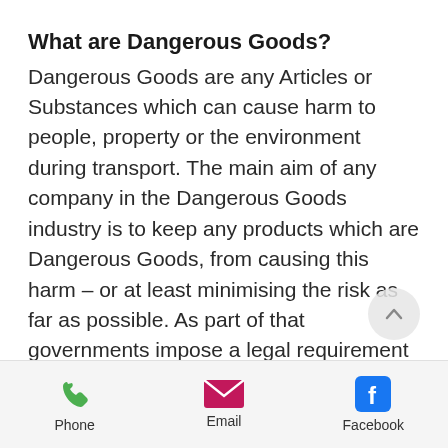What are Dangerous Goods?
Dangerous Goods are any Articles or Substances which can cause harm to people, property or the environment during transport. The main aim of any company in the Dangerous Goods industry is to keep any products which are Dangerous Goods, from causing this harm – or at least minimising the risk as far as possible. As part of that governments impose a legal requirement on anyone who is packing, shipping or carrying these goods to be adequately trained. So,
Phone  Email  Facebook